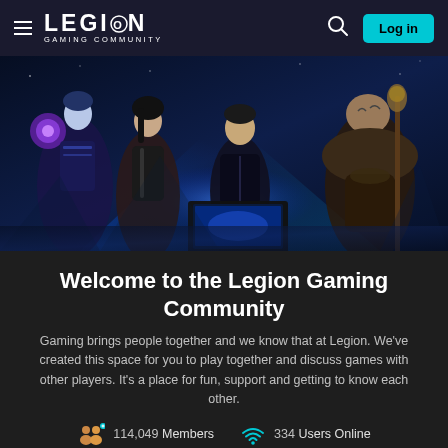≡ LEGION GAMING COMMUNITY  🔍  Log in
[Figure (photo): Hero banner image featuring four gaming characters (a blue fantasy mage, a female character, a young man, and a large tattooed warrior) posed around a Lenovo Legion gaming laptop displaying a game scene, with blue light rays emanating from behind the laptop against a dark blue background]
Welcome to the Legion Gaming Community
Gaming brings people together and we know that at Legion. We've created this space for you to play together and discuss games with other players. It's a place for fun, support and getting to know each other.
114,049 Members   334 Users Online
78,868 Posts